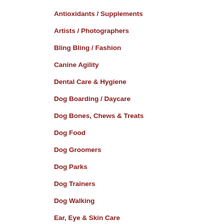Antioxidants / Supplements
Artists / Photographers
Bling Bling / Fashion
Canine Agility
Dental Care & Hygiene
Dog Boarding / Daycare
Dog Bones, Chews & Treats
Dog Food
Dog Groomers
Dog Parks
Dog Trainers
Dog Walking
Ear, Eye & Skin Care
Emergency Services
Gifts for Pet Lovers
Interior Design / Landscaping
Local Shelters
Outdoor Gear